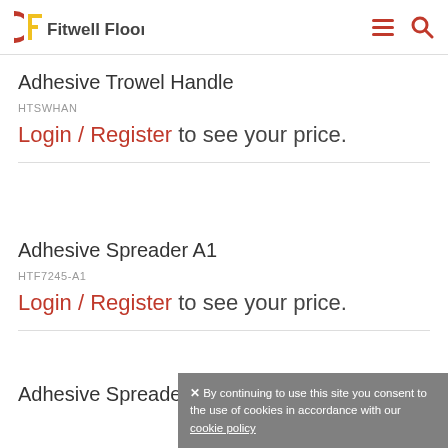Fitwell Flooring
Adhesive Trowel Handle
HTSWHAN
Login / Register to see your price.
Adhesive Spreader A1
HTF7245-A1
Login / Register to see your price.
Adhesive Spreader A1
✕ By continuing to use this site you consent to the use of cookies in accordance with our cookie policy